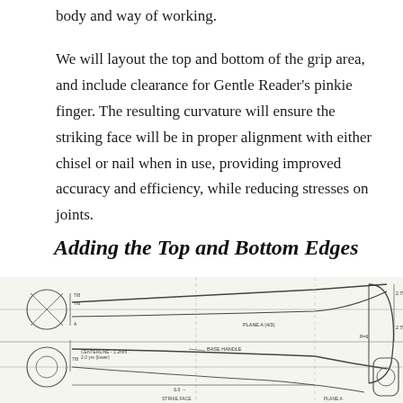body and way of working.
We will layout the top and bottom of the grip area, and include clearance for Gentle Reader's pinkie finger. The resulting curvature will ensure the striking face will be in proper alignment with either chisel or nail when in use, providing improved accuracy and efficiency, while reducing stresses on joints.
Adding the Top and Bottom Edges
[Figure (engineering-diagram): Technical engineering drawing showing side and front views of a hammer handle/mallet, with dimension lines, curvature markings, annotations including 'BASE HANDLE', 'CENTERLINE', dimension labels, and cross-section circles on left side showing the grip profile.]